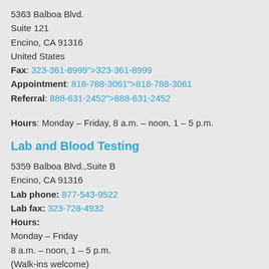5363 Balboa Blvd.
Suite 121
Encino, CA 91316
United States
Fax: 323-361-8999">323-361-8999
Appointment: 818-788-3061">818-788-3061
Referral: 888-631-2452">888-631-2452
Hours: Monday – Friday, 8 a.m. – noon, 1 – 5 p.m.
Lab and Blood Testing
5359 Balboa Blvd.,Suite B
Encino, CA 91316
Lab phone: 877-543-9522
Lab fax: 323-728-4932
Hours:
Monday – Friday
8 a.m. – noon, 1 – 5 p.m.
(Walk-ins welcome)
Orthopedic Services